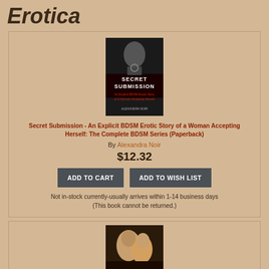Erotica
[Figure (photo): Book cover of 'Secret Submission' by Alexandra Noir — dark background with a woman's face, collar and rings visible, text overlaid]
Secret Submission - An Explicit BDSM Erotic Story of a Woman Accepting Herself: The Complete BDSM Series (Paperback)
By Alexandra Noir
$12.32
ADD TO CART
ADD TO WISH LIST
Not in-stock currently-usually arrives within 1-14 business days
(This book cannot be returned.)
[Figure (photo): Partial book cover showing a romantic couple in close embrace — second product card beginning]